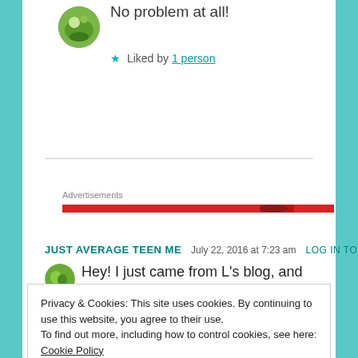No problem at all!
★ Liked by 1 person
Advertisements
JUST AVERAGE TEEN ME   July 22, 2016 at 7:23 am   LOG IN TO REPLY
Hey! I just came from L's blog, and followed
Privacy & Cookies: This site uses cookies. By continuing to use this website, you agree to their use.
To find out more, including how to control cookies, see here: Cookie Policy
Close and accept